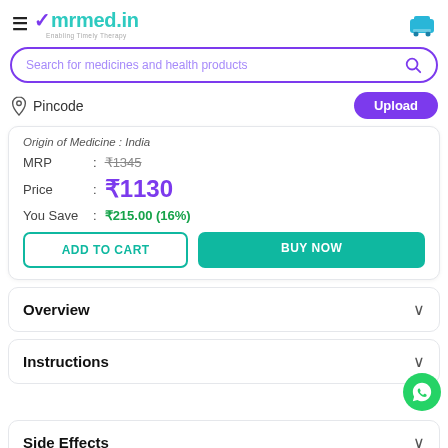[Figure (logo): mrmed.in logo with checkmark and tagline 'Enabling Timely Therapy']
Search for medicines and health products
Pincode
Origin of Medicine : India
MRP : ₹1345 (strikethrough)
Price : ₹1130
You Save : ₹215.00 (16%)
ADD TO CART
BUY NOW
Overview
Instructions
Side Effects
[Figure (logo): WhatsApp floating button]